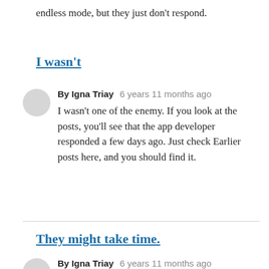endless mode, but they just don't respond.
I wasn't
By Igna Triay   6 years 11 months ago
I wasn't one of the enemy. If you look at the posts, you'll see that the app developer responded a few days ago. Just check Earlier posts here, and you should find it.
They might take time.
By Igna Triay   6 years 11 months ago